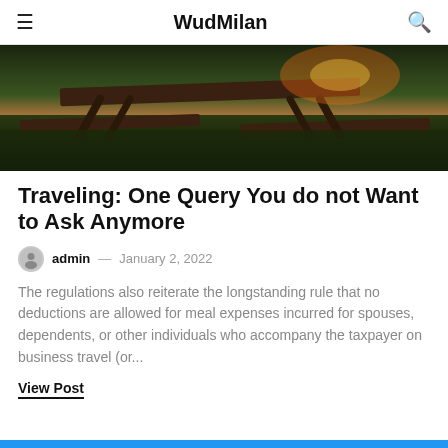WudMilan
[Figure (photo): Outdoor wooden picnic table and benches on grass with a sunset/warm light in the background, dark moody tones.]
Traveling: One Query You do not Want to Ask Anymore
admin — January 2, 2022
The regulations also reiterate the longstanding rule that no deductions are allowed for meal expenses incurred for spouses, dependents, or other individuals who accompany the taxpayer on business travel (or...
View Post